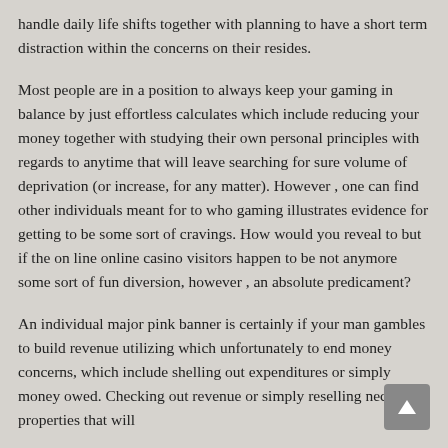handle daily life shifts together with planning to have a short term distraction within the concerns on their resides.
Most people are in a position to always keep your gaming in balance by just effortless calculates which include reducing your money together with studying their own personal principles with regards to anytime that will leave searching for sure volume of deprivation (or increase, for any matter). However , one can find other individuals meant for to who gaming illustrates evidence for getting to be some sort of cravings. How would you reveal to but if the on line online casino visitors happen to be not anymore some sort of fun diversion, however , an absolute predicament?
An individual major pink banner is certainly if your man gambles to build revenue utilizing which unfortunately to end money concerns, which include shelling out expenditures or simply money owed. Checking out revenue or simply reselling necessary properties that will